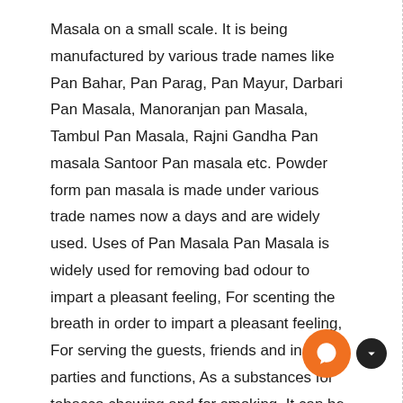Masala on a small scale. It is being manufactured by various trade names like Pan Bahar, Pan Parag, Pan Mayur, Darbari Pan Masala, Manoranjan pan Masala, Tambul Pan Masala, Rajni Gandha Pan masala Santoor Pan masala etc. Powder form pan masala is made under various trade names now a days and are widely used. Uses of Pan Masala Pan Masala is widely used for removing bad odour to impart a pleasant feeling, For scenting the breath in order to impart a pleasant feeling, For serving the guests, friends and in the parties and functions, As a substances for tobacco chewing and for smoking, It can be used in the Hotel and restaurants. Properties of Pan Masala It should not produce irritation effects in the mouth, It should cool the mouth, It should have scented affect in the mouth & NO excess of lime should be in the pan Masala. Market Survey Now days pan Masala has very good market demand due to customer's habit. There is tremendous scope of pan masala. Actually on pan masala market data is not